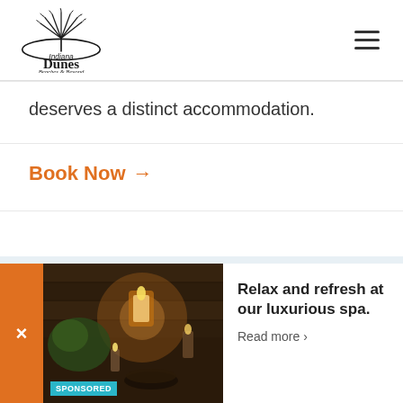[Figure (logo): Indiana Dunes Beaches & Beyond logo with palm tree graphic]
deserves a distinct accommodation.
Book Now →
Start Planning Your Adventure
[Figure (photo): Spa/patio scene with candles and plants, warm lighting]
Relax and refresh at our luxurious spa. Read more ›